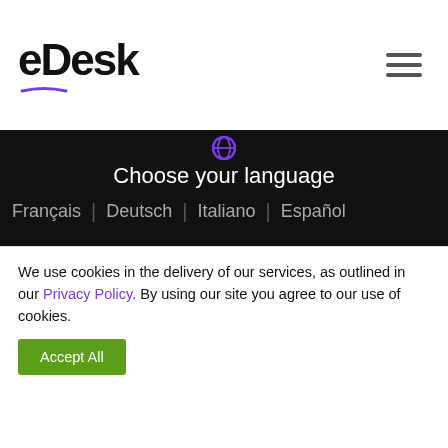eDesk
Choose your language
Français | Deutsch | Italiano | Español
Product
Smart Inbox
Live Chat
Automations
We use cookies in the delivery of our services, as outlined in our Privacy Policy. By using our site you agree to our use of cookies.
Accept All